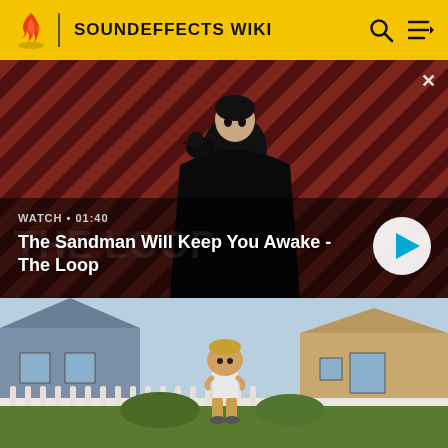SOUNDEFFECTS WIKI
[Figure (screenshot): Video thumbnail for 'The Sandman Will Keep You Awake - The Loop' showing a pale dark-haired man in a black cape with a raven on his shoulder against a red and black diagonal striped background. Shows WATCH · 01:40 label and play button.]
WATCH · 01:40
The Sandman Will Keep You Awake - The Loop
[Figure (screenshot): Animation screenshot showing a cartoon character standing in a suburban yard with a house and fence in the background.]